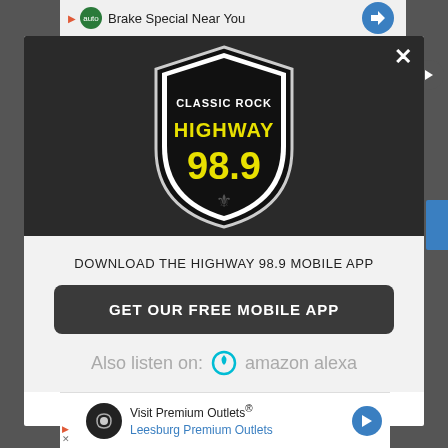[Figure (screenshot): Background webpage screenshot showing dark blurred content]
[Figure (logo): Classic Rock Highway 98.9 shield logo with black and white border, yellow text HIGHWAY 98.9 and fleur-de-lis]
DOWNLOAD THE HIGHWAY 98.9 MOBILE APP
GET OUR FREE MOBILE APP
Also listen on:  amazon alexa
Visit Premium Outlets® Leesburg Premium Outlets